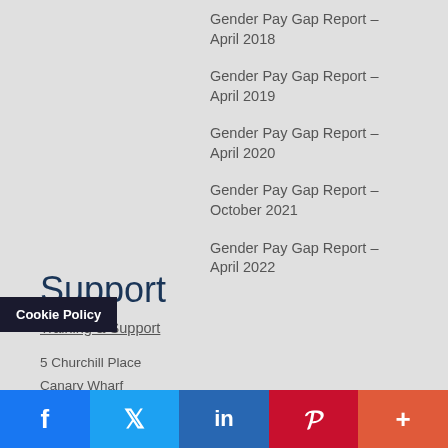Gender Pay Gap Report – April 2018
Gender Pay Gap Report – April 2019
Gender Pay Gap Report – April 2020
Gender Pay Gap Report – October 2021
Gender Pay Gap Report – April 2022
Support
Training & Support
5 Churchill Place
Canary Wharf
E14 5HU
+44 (0)20 7674 0300
support@cision.com
Cookie Policy